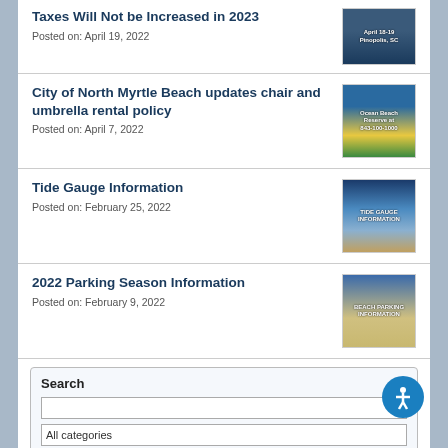Taxes Will Not be Increased in 2023
Posted on: April 19, 2022
[Figure (photo): Group photo thumbnail for Taxes Will Not be Increased in 2023 news article]
City of North Myrtle Beach updates chair and umbrella rental policy
Posted on: April 7, 2022
[Figure (photo): Beach umbrella rental thumbnail for City of North Myrtle Beach updates article]
Tide Gauge Information
Posted on: February 25, 2022
[Figure (photo): Tide Gauge Information thumbnail with text overlay]
2022 Parking Season Information
Posted on: February 9, 2022
[Figure (photo): Beach Parking Information thumbnail]
Search
All categories